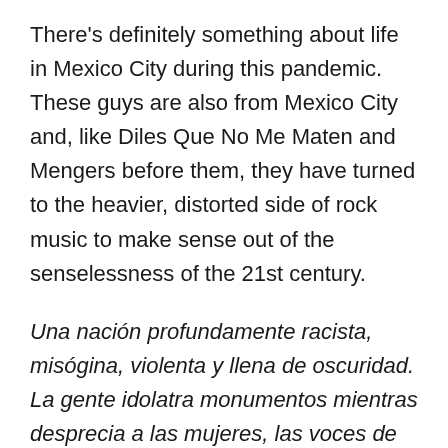There's definitely something about life in Mexico City during this pandemic. These guys are also from Mexico City and, like Diles Que No Me Maten and Mengers before them, they have turned to the heavier, distorted side of rock music to make sense out of the senselessness of the 21st century.
Una nación profundamente racista, misógina, violenta y llena de oscuridad. La gente idolatra monumentos mientras desprecia a las mujeres, las voces de sus habitantes son ignoradas constantemente y la desesperanza se ha convertido en nuestro estado colectivo natural. /// A deeply racist, misogynistic, violent and dark nation. People idolize monuments while